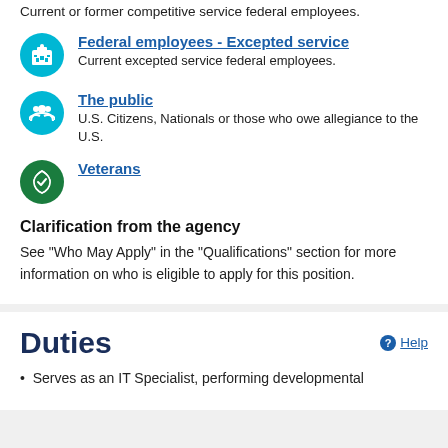Current or former competitive service federal employees.
Federal employees - Excepted service
Current excepted service federal employees.
The public
U.S. Citizens, Nationals or those who owe allegiance to the U.S.
Veterans
Clarification from the agency
See "Who May Apply" in the "Qualifications" section for more information on who is eligible to apply for this position.
Duties
Serves as an IT Specialist, performing developmental